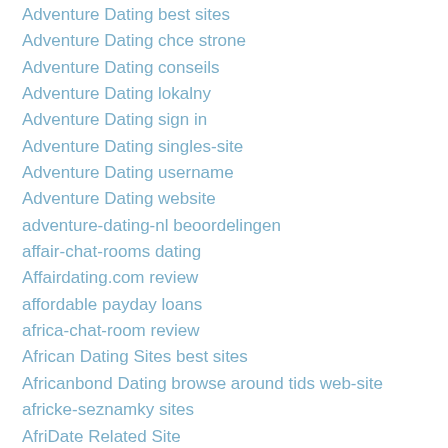Adventure Dating best sites
Adventure Dating chce strone
Adventure Dating conseils
Adventure Dating lokalny
Adventure Dating sign in
Adventure Dating singles-site
Adventure Dating username
Adventure Dating website
adventure-dating-nl beoordelingen
affair-chat-rooms dating
Affairdating.com review
affordable payday loans
africa-chat-room review
African Dating Sites best sites
Africanbond Dating browse around tids web-site
africke-seznamky sites
AfriDate Related Site
AfriDate see the site